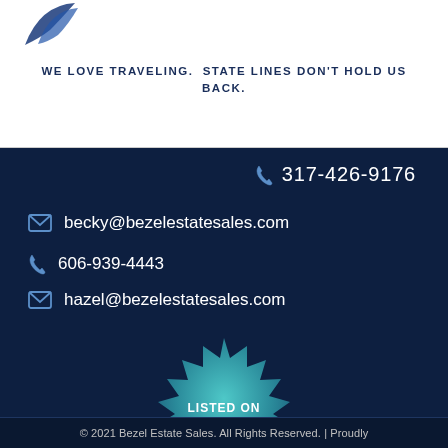[Figure (logo): Bezel Estate Sales logo - partial blue swoosh/bird shape visible at top left]
WE LOVE TRAVELING. STATE LINES DON'T HOLD US BACK.
317-426-9176
becky@bezelestatesales.com
606-939-4443
hazel@bezelestatesales.com
[Figure (logo): EstateSales.org badge - teal starburst/seal shape with text: LISTED ON, EstateSales.org, ESTATE SALES & ESTATE AUCTIONS DIRECTORY]
© 2021 Bezel Estate Sales. All Rights Reserved. | Proudly